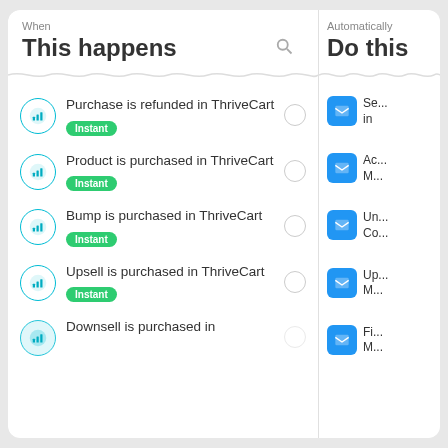When
This happens
Purchase is refunded in ThriveCart
Instant
Product is purchased in ThriveCart
Instant
Bump is purchased in ThriveCart
Instant
Upsell is purchased in ThriveCart
Instant
Downsell is purchased in
Automatically
Do this
Se... in
Ac... M...
Un... Co...
Up... M...
Fi... M...